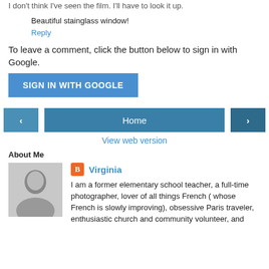I don't think I've seen the film. I'll have to look it up.
Beautiful stainglass window!
Reply
To leave a comment, click the button below to sign in with Google.
SIGN IN WITH GOOGLE
< Home >
View web version
About Me
Virginia
I am a former elementary school teacher, a full-time photographer, lover of all things French ( whose French is slowly improving), obsessive Paris traveler, enthusiastic church and community volunteer, and